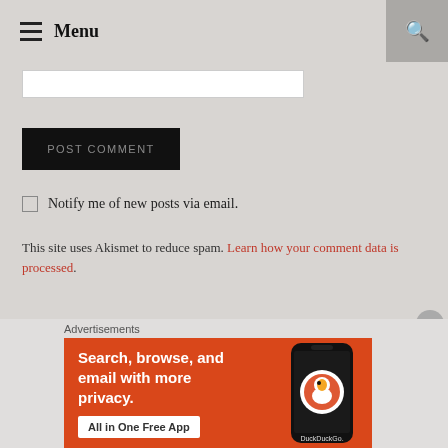Menu
POST COMMENT
Notify me of new posts via email.
This site uses Akismet to reduce spam. Learn how your comment data is processed.
Advertisements
[Figure (photo): DuckDuckGo advertisement banner: Search, browse, and email with more privacy. All in One Free App. Shows a smartphone with DuckDuckGo branding on orange background.]